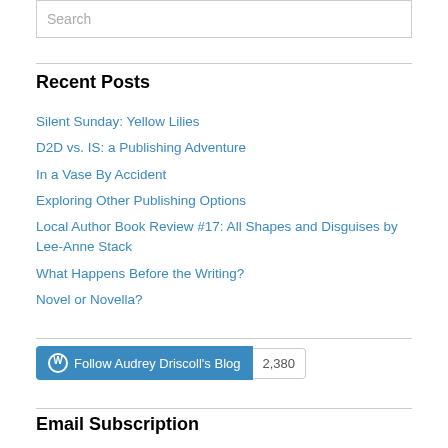Search
Recent Posts
Silent Sunday: Yellow Lilies
D2D vs. IS: a Publishing Adventure
In a Vase By Accident
Exploring Other Publishing Options
Local Author Book Review #17: All Shapes and Disguises by Lee-Anne Stack
What Happens Before the Writing?
Novel or Novella?
Follow Audrey Driscoll's Blog 2,380
Email Subscription